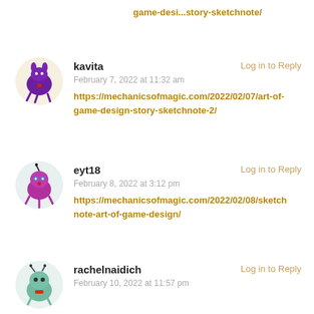game-desi...story-sketchnote/
kavita
Log in to Reply
February 7, 2022 at 11:32 am
https://mechanicsofmagic.com/2022/02/07/art-of-game-design-story-sketchnote-2/
[Figure (illustration): Cartoon avatar of a purple round creature with rabbit ears and legs]
eyt18
Log in to Reply
February 8, 2022 at 3:12 pm
https://mechanicsofmagic.com/2022/02/08/sketchnote-art-of-game-design/
[Figure (illustration): Cartoon avatar of a purple round creature with antennae and legs]
rachelnaidich
Log in to Reply
February 10, 2022 at 11:57 pm
[Figure (illustration): Cartoon avatar of a teal/green round creature with antennae]